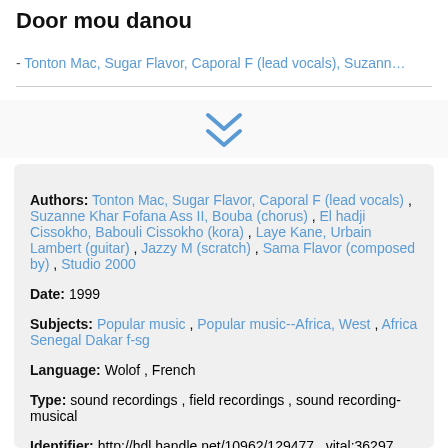Door mou danou
- Tonton Mac, Sugar Flavor, Caporal F (lead vocals), Suzann…
[Figure (other): Double chevron down arrow icon in blue]
Authors: Tonton Mac, Sugar Flavor, Caporal F (lead vocals) , Suzanne Khar Fofana Ass II, Bouba (chorus) , El hadji Cissokho, Babouli Cissokho (kora) , Laye Kane, Urbain Lambert (guitar) , Jazzy M (scratch) , Sama Flavor (composed by) , Studio 2000
Date: 1999
Subjects: Popular music , Popular music--Africa, West , Africa Senegal Dakar f-sg
Language: Wolof , French
Type: sound recordings , field recordings , sound recording-musical
Identifier: http://hdl.handle.net/10962/129477 , vital:36297 , International Library of African Music, Rhodes University, Grahamstown, South Africa ,